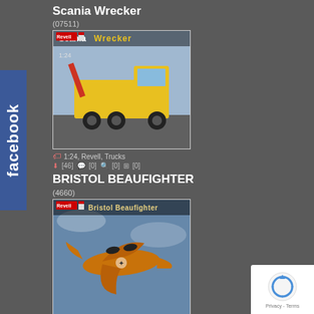Scania Wrecker
(07511)
[Figure (photo): Revell 1:24 Scania Wrecker model kit box art showing a yellow tow truck]
1:24, Revell, Trucks
[46]  [0]  [0]  [0]
BRISTOL BEAUFIGHTER
(4660)
[Figure (photo): Revell Bristol Beaufighter model kit box art showing a WWII airplane in flight]
1:32, Revell, Airplanes
[72]  [0]  [1]  [0]
F-106 Delta Dart
(5847)
[Figure (photo): F-106 Delta Dart model kit box art, partially visible at bottom]
[Figure (other): Facebook sidebar tab]
[Figure (other): Google reCAPTCHA Privacy Terms widget]